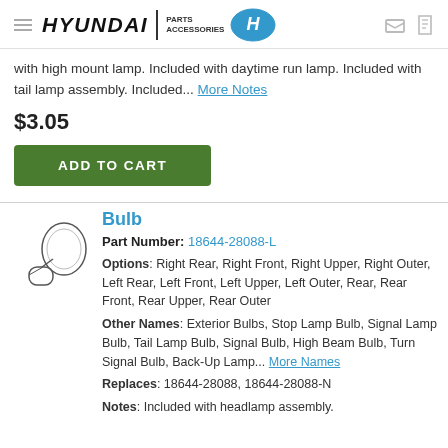HYUNDAI PARTS ACCESSORIES
with high mount lamp. Included with daytime run lamp. Included with tail lamp assembly. Included... More Notes
$3.05
ADD TO CART
Bulb
Part Number: 18644-28088-L
Options: Right Rear, Right Front, Right Upper, Right Outer, Left Rear, Left Front, Left Upper, Left Outer, Rear, Rear Front, Rear Upper, Rear Outer
Other Names: Exterior Bulbs, Stop Lamp Bulb, Signal Lamp Bulb, Tail Lamp Bulb, Signal Bulb, High Beam Bulb, Turn Signal Bulb, Back-Up Lamp... More Names
Replaces: 18644-28088, 18644-28088-N
Notes: Included with headlamp assembly.